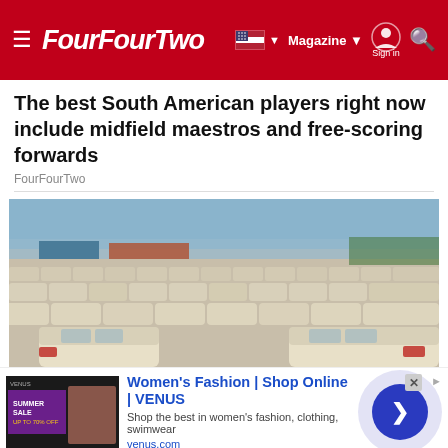FourFourTwo — Magazine | Sign in
The best South American players right now include midfield maestros and free-scoring forwards
FourFourTwo
[Figure (photo): Aerial view of a large parking lot filled with rows of white/cream coloured cars under a blue sky]
[Figure (infographic): Advertisement banner for Women's Fashion | Shop Online | VENUS — Shop the best in women's fashion, clothing, swimwear — venus.com]